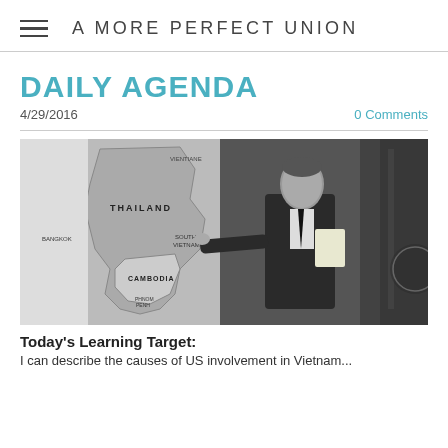A MORE PERFECT UNION
DAILY AGENDA
4/29/2016   0 Comments
[Figure (photo): Black and white photograph of President Nixon pointing to a map showing Thailand, Cambodia, and South Vietnam, holding papers, with a US flag visible in the background]
Today's Learning Target:
I can describe the causes of US involvement in Vietnam...